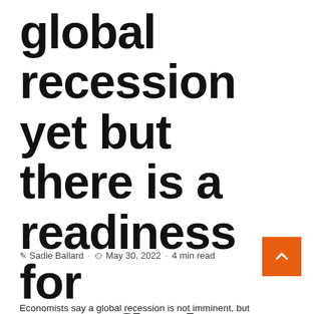global recession yet but there is a readiness for stagflation
Sadie Ballard · May 30, 2022 · 4 min read
Economists say a global recession is not imminent, but